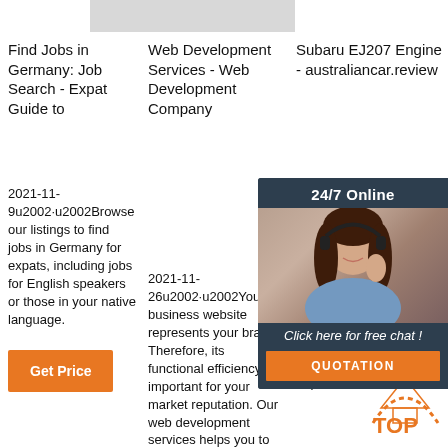[Figure (other): Gray rectangle placeholder image at top center]
Find Jobs in Germany: Job Search - Expat Guide to
2021-11-9u2002·u2002Browse our listings to find jobs in Germany for expats, including jobs for English speakers or those in your native language.
[Figure (other): Get Price orange button]
Web Development Services - Web Development Company
2021-11-26u2002·u2002Your business website represents your brand. Therefore, its functional efficiency is important for your market reputation. Our web development services helps you to develop
Subaru EJ207 Engine - australiancar.review
Subaru's EJ207 engine was a 2.0-litre horizontally-opposed and turbocharged four-cylinder engine. For Australia, the EJ207 was first offered in the Subaru GC Impreza WRX STi in 1999 and subsequently powered the Subaru GD Impreza WRX STi.
[Figure (other): 24/7 Online chat widget with woman headset photo and QUOTATION button]
[Figure (other): TOP badge with orange dotted arch and text]